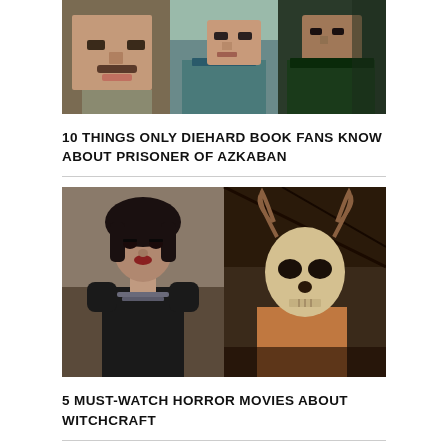[Figure (photo): Collage of three actors (man with mustache, man in teal shirt, man in green jacket) from Harry Potter Prisoner of Azkaban]
10 THINGS ONLY DIEHARD BOOK FANS KNOW ABOUT PRISONER OF AZKABAN
[Figure (photo): Two horror movie stills side by side: woman with dark curly hair in black dress, and a figure wearing an animal skull mask]
5 MUST-WATCH HORROR MOVIES ABOUT WITCHCRAFT